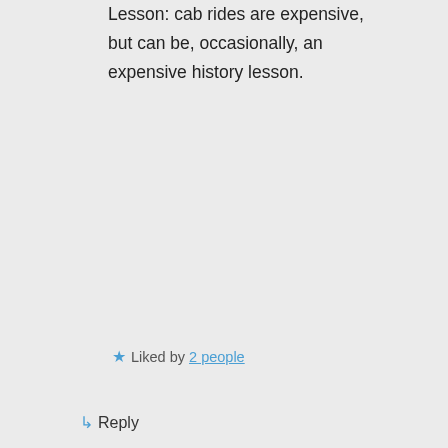Lesson: cab rides are expensive, but can be, occasionally, an expensive history lesson.
★ Liked by 2 people
↳ Reply
Dave Astor on August 24, 2021 at 4:16 pm
I must have passed near that statue